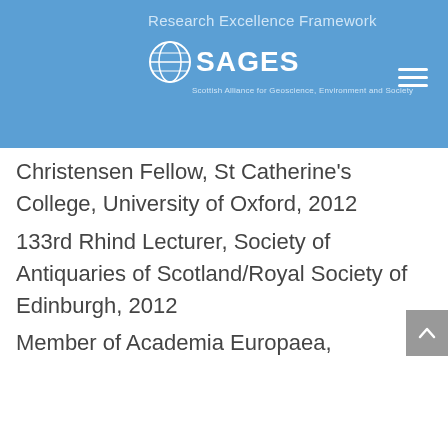Research Excellence Framework — SAGES (Scottish Alliance for Geoscience, Environment and Society)
Christensen Fellow, St Catherine's College, University of Oxford, 2012
133rd Rhind Lecturer, Society of Antiquaries of Scotland/Royal Society of Edinburgh, 2012
Member of Academia Europaea,